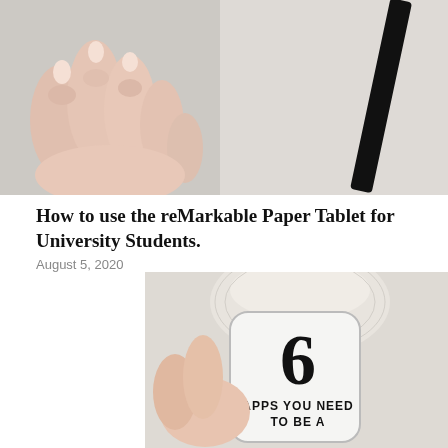[Figure (photo): Close-up of a hand holding a stylus/pen against a white device, partial view cropped at top of page]
How to use the reMarkable Paper Tablet for University Students.
August 5, 2020
[Figure (photo): Photo showing a white decorative bowl in background, hand holding a smartphone with text overlay showing '6 APPS YOU NEED TO BE A' with a large numeral 6]